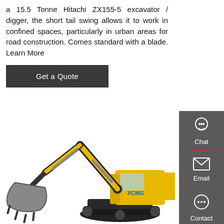a 15.5 Tonne Hitachi ZX155-5 excavator / digger, the short tail swing allows it to work in confined spaces, particularly in urban areas for road construction. Comes standard with a blade. Learn More
Get a Quote
[Figure (photo): Yellow XCMG excavator/digger with large bucket attachment, shown on white background]
[Figure (infographic): Dark grey sidebar with Chat, Email, and Contact icons and labels]